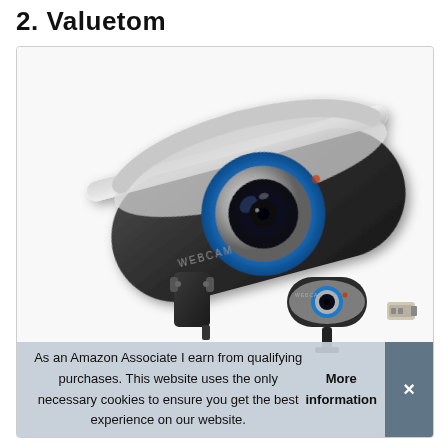2. Valuetom
[Figure (photo): A Valuetom webcam product photo showing a large black and silver webcam with a blue ring around the lens, labeled WEBCAM, mounted on a tripod-style clip. A smaller thumbnail image of the same webcam and a USB adapter are shown in the lower right.]
As an Amazon Associate I earn from qualifying purchases. This website uses the only necessary cookies to ensure you get the best experience on our website. More information